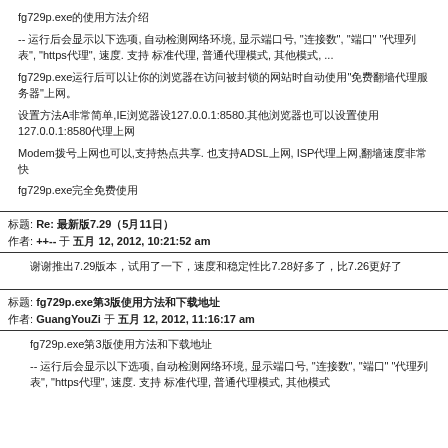fg729p.exe的使用方法介绍
-- 运行后会显示以下选项, 自动检测网络环境, 显示端口号, "连接数", "端口" "代理列表", "https代理", 速度. 支持 标准代理, 普通代理模式, 其他模式, ...
fg729p.exe运行后可以让你的浏览器在访问被封锁的网站时自动使用"免费翻墙代理服务器"上网。
设置方法A非常简单,IE浏览器设127.0.0.1:8580.其他浏览器也可以设置使用127.0.0.1:8580代理上网
Modem拨号上网也可以,支持热点共享. 也支持ADSL上网, ISP代理上网,翻墙速度非常快
fg729p.exe完全免费使用
标题: Re: 最新版7.29（5月11日）
作者: ++-- 于 五月 12, 2012, 10:21:52 am
谢谢推出7.29版本，试用了一下，速度和稳定性比7.28好多了，比7.26更好了
标题: fg729p.exe第3版使用方法和下载地址
作者: GuangYouZi 于 五月 12, 2012, 11:16:17 am
fg729p.exe第3版使用方法和下载地址
-- 运行后会显示以下选项, 自动检测网络环境, 显示端口号, "连接数", "端口" "代理列表", "https代理", 速度. 支持 标准代理, 普通代理模式, 其他模式